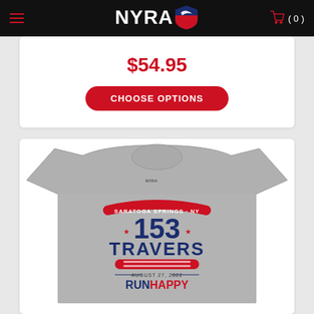NYRA (0)
$54.95
CHOOSE OPTIONS
[Figure (photo): Gray t-shirt with NYRA logo on chest, design reading SARATOGA SPRINGS NY, 153 TRAVERS, AUGUST 27, 2022, RUNHAPPY]